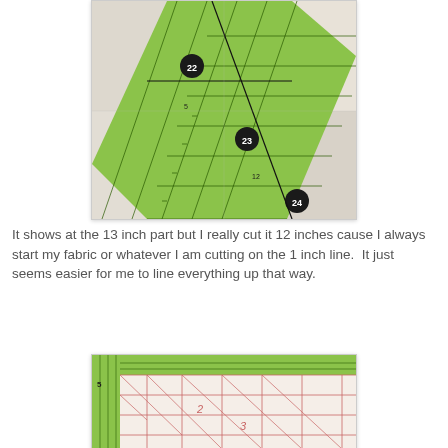[Figure (photo): Close-up photo of a green quilting ruler placed diagonally over white fabric pieces, showing measurement markings at 22, 23, and 24 inch marks with measurement lines visible.]
It shows at the 13 inch part but I really cut it 12 inches cause I always start my fabric or whatever I am cutting on the 1 inch line.  It just seems easier for me to line everything up that way.
[Figure (photo): Close-up photo of a green quilting ruler on white fabric with pink/red grid lines and measurement markings showing numbers 2, 3, 5 on the fabric.]